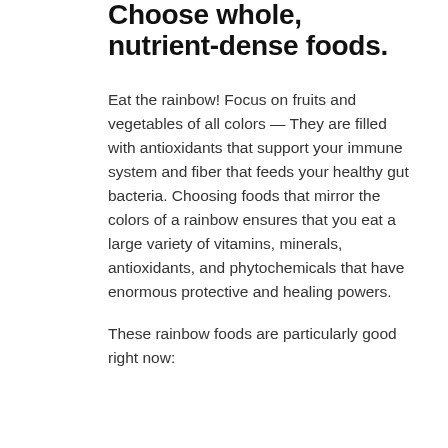Choose whole, nutrient-dense foods.
Eat the rainbow! Focus on fruits and vegetables of all colors — They are filled with antioxidants that support your immune system and fiber that feeds your healthy gut bacteria. Choosing foods that mirror the colors of a rainbow ensures that you eat a large variety of vitamins, minerals, antioxidants, and phytochemicals that have enormous protective and healing powers.
These rainbow foods are particularly good right now: